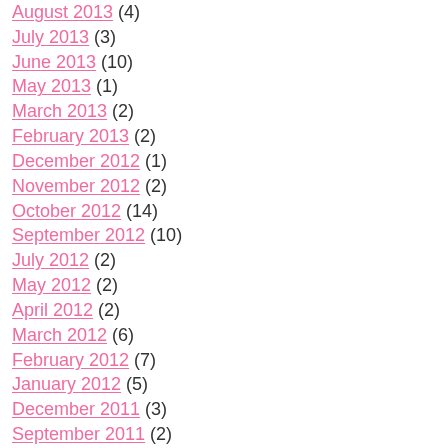August 2013 (4)
July 2013 (3)
June 2013 (10)
May 2013 (1)
March 2013 (2)
February 2013 (2)
December 2012 (1)
November 2012 (2)
October 2012 (14)
September 2012 (10)
July 2012 (2)
May 2012 (2)
April 2012 (2)
March 2012 (6)
February 2012 (7)
January 2012 (5)
December 2011 (3)
September 2011 (2)
March 2011 (2)
January 2011 (3)